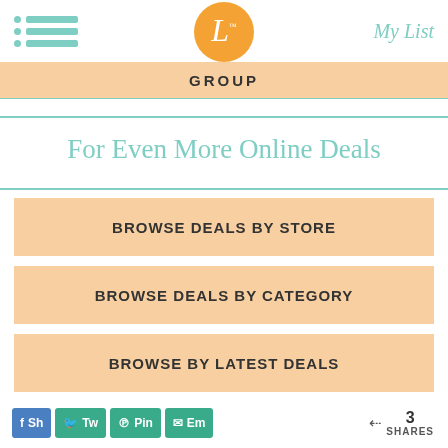L GROUP — My List
GROUP
For Even More Online Deals
BROWSE DEALS BY STORE
BROWSE DEALS BY CATEGORY
BROWSE BY LATEST DEALS
Sh Tw Pin Em — 3 SHARES